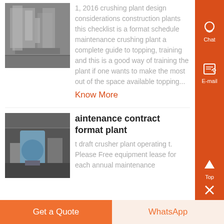[Figure (photo): Industrial crushing plant machinery exterior, grey industrial equipment]
1, 2016 crushing plant design considerations construction plants this checklist is a format schedule maintenance crushing plant a complete guide to topping, training and this is a good way of training the plant if one wants to make the most out of the space available topping...
Know More
[Figure (photo): Indoor crushing/milling plant machinery with blue and grey industrial equipment]
aintenance contract format plant
t draft crusher plant operating t. Please Free equipment lease for each annual maintenance